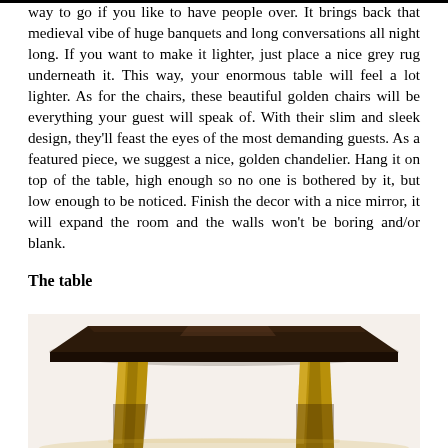way to go if you like to have people over. It brings back that medieval vibe of huge banquets and long conversations all night long. If you want to make it lighter, just place a nice grey rug underneath it. This way, your enormous table will feel a lot lighter. As for the chairs, these beautiful golden chairs will be everything your guest will speak of. With their slim and sleek design, they'll feast the eyes of the most demanding guests. As a featured piece, we suggest a nice, golden chandelier. Hang it on top of the table, high enough so no one is bothered by it, but low enough to be noticed. Finish the decor with a nice mirror, it will expand the room and the walls won't be boring and/or blank.
The table
[Figure (photo): A dark wooden dining table with metallic/golden legs, photographed from a low angle. The table top appears dark brown/black and the legs are polished gold or brass colored.]